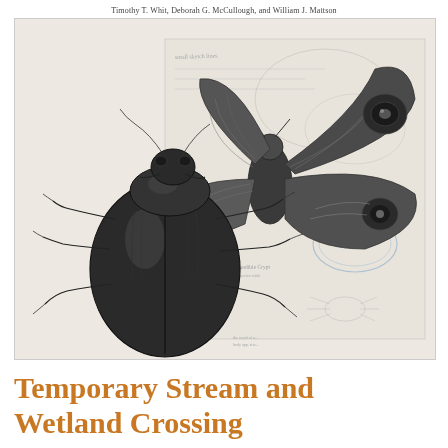Timothy T. Whit, Deborah G. McCullough, and William J. Mattson
[Figure (illustration): Scientific illustration showing a detailed pencil/ink drawing of a large beetle (foreground, left) and a moth or butterfly (background, right) overlaid on scientific field notes/sketches with handwritten annotations, a library stamp reading 'EC-100', and additional insect sketches.]
Temporary Stream and Wetland Crossing